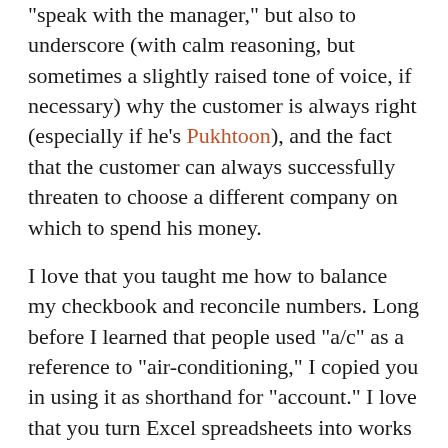“speak with the manager,” but also to underscore (with calm reasoning, but sometimes a slightly raised tone of voice, if necessary) why the customer is always right (especially if he’s Pukhtoon), and the fact that the customer can always successfully threaten to choose a different company on which to spend his money.
I love that you taught me how to balance my checkbook and reconcile numbers. Long before I learned that people used “a/c” as a reference to “air-conditioning,” I copied you in using it as shorthand for “account.” I love that you turn Excel spreadsheets into works of art. Columns are aligned, borders are dragged, colors are added — and numbers are always balanced. Once, you put together a document for a friend of yours, and when I complimented you on the layout and asked, “Did you do this in Excel?”, you replied, “No, in Word.” And I must have given you a funny look, because you were nearly offended: “What! I do know how to do stuff in Word, too.” And then there were really long pages to read at